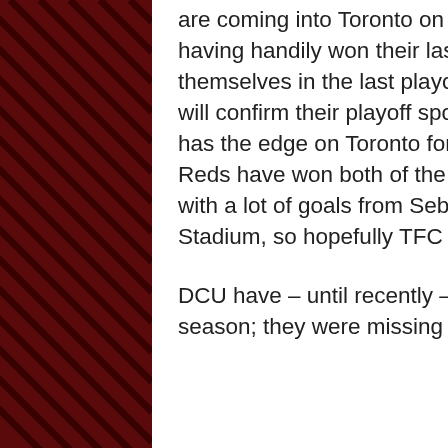are coming into Toronto on a pretty good run of form having handily won their last two games and putting themselves in the last playoff spot – in fact a win today will confirm their playoff spot, joyous.  Historically DCU has the edge on Toronto for wins, but this season the Reds have won both of the previous matches – albeit with a lot of goals from Seba – both here and at RFK Stadium, so hopefully TFC can make it a clean sweep.
DCU have – until recently – underachieved this season; they were missing top keeper Bill